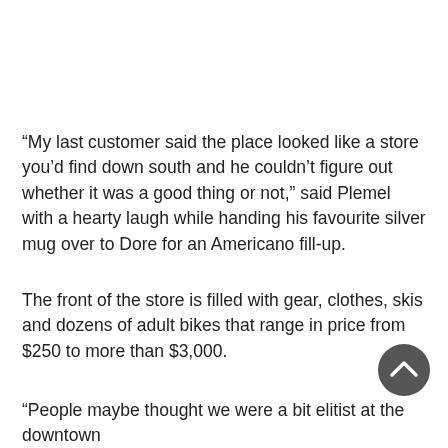“My last customer said the place looked like a store you’d find down south and he couldn’t figure out whether it was a good thing or not,” said Plemel with a hearty laugh while handing his favourite silver mug over to Dore for an Americano fill-up.
The front of the store is filled with gear, clothes, skis and dozens of adult bikes that range in price from $250 to more than $3,000.
“People maybe thought we were a bit elitist at the downtown store and like...